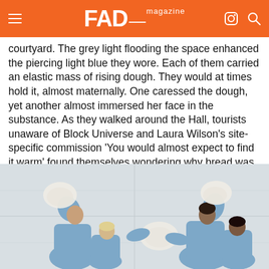FAD magazine
performers, wearing boiler suits, stalked around, occasionally congregating at the very centre of the courtyard. The grey light flooding the space enhanced the piercing light blue they wore. Each of them carried an elastic mass of rising dough. They would at times hold it, almost maternally. One caressed the dough, yet another almost immersed her face in the substance. As they walked around the Hall, tourists unaware of Block Universe and Laura Wilson's site-specific commission 'You would almost expect to find it warm' found themselves wondering why bread was being kneaded near classical temples.
[Figure (photo): Three performers dressed in light blue boiler suits holding and interacting with masses of white dough. They are positioned against a light grey/white background, with arms raised and bodies leaning as they hold the elastic dough masses overhead.]